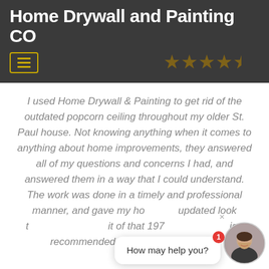Home Drywall and Painting CO
[Figure (illustration): Five dark gold/brown star rating icons in header area]
[Figure (illustration): Hamburger menu button with yellow border and three yellow horizontal lines]
I used Home Drywall & Painting to get rid of the outdated popcorn ceiling throughout my older St. Paul house. Not knowing anything when it comes to anything about home improvements, they answered all of my questions and concerns I had, and answered them in a way that I could understand. The work was done in a timely and professional manner, and gave my house an updated look to it. fit of that 197 ign recommended them to do any kind of
[Figure (illustration): Chat widget overlay with notification badge showing '1', a speech bubble saying 'How may help you?' and a circular avatar photo of a smiling woman]